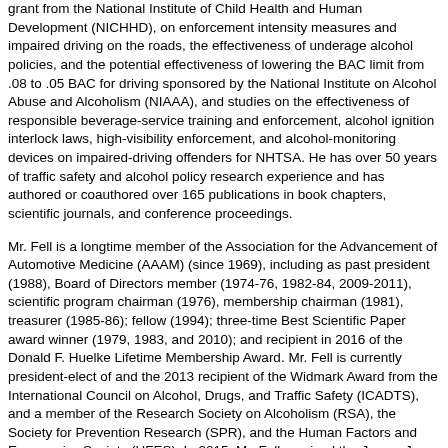grant from the National Institute of Child Health and Human Development (NICHHD), on enforcement intensity measures and impaired driving on the roads, the effectiveness of underage alcohol policies, and the potential effectiveness of lowering the BAC limit from .08 to .05 BAC for driving sponsored by the National Institute on Alcohol Abuse and Alcoholism (NIAAA), and studies on the effectiveness of responsible beverage-service training and enforcement, alcohol ignition interlock laws, high-visibility enforcement, and alcohol-monitoring devices on impaired-driving offenders for NHTSA. He has over 50 years of traffic safety and alcohol policy research experience and has authored or coauthored over 165 publications in book chapters, scientific journals, and conference proceedings.
Mr. Fell is a longtime member of the Association for the Advancement of Automotive Medicine (AAAM) (since 1969), including as past president (1988), Board of Directors member (1974-76, 1982-84, 2009-2011), scientific program chairman (1976), membership chairman (1981), treasurer (1985-86); fellow (1994); three-time Best Scientific Paper award winner (1979, 1983, and 2010); and recipient in 2016 of the Donald F. Huelke Lifetime Membership Award. Mr. Fell is currently president-elect of and the 2013 recipient of the Widmark Award from the International Council on Alcohol, Drugs, and Traffic Safety (ICADTS), and a member of the Research Society on Alcoholism (RSA), the Society for Prevention Research (SPR), and the Human Factors and Ergonomics Society (HFES). In 2015, Mr. Fell received the James J. Howard Highway Safety Trailblazer Award from the Governors' Highway Safety Association (GHSA) for sustained outstanding leadership in endeavors that significantly improve highway safety, and the Kevin Quinlan Advocacy Award from the Maryland Highway Safety Office.